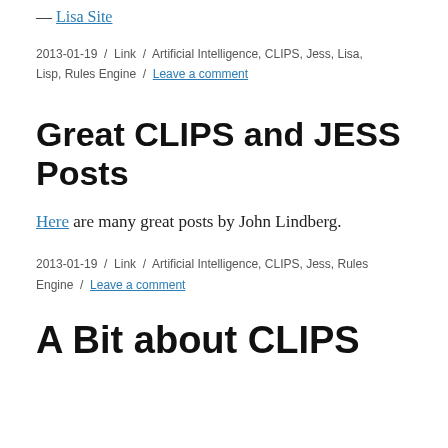— Lisa Site
2013-01-19 / Link / Artificial Intelligence, CLIPS, Jess, Lisa, Lisp, Rules Engine / Leave a comment
Great CLIPS and JESS Posts
Here are many great posts by John Lindberg.
2013-01-19 / Link / Artificial Intelligence, CLIPS, Jess, Rules Engine / Leave a comment
A Bit about CLIPS